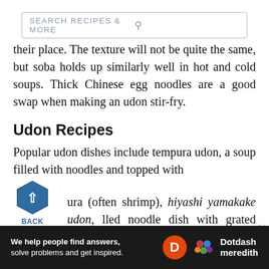SEARCH RECIPES & MORE
their place. The texture will not be quite the same, but soba holds up similarly well in hot and cold soups. Thick Chinese egg noodles are a good swap when making an udon stir-fry.
Udon Recipes
Popular udon dishes include tempura udon, a soup filled with noodles and topped with tempura (often shrimp), hiyashi yamakake udon, a chilled noodle dish with grated Japanese mountain yam, and kitsune udon, topped with savory, fried tofu.
[Figure (other): Back to top button: dark blue hexagon with upward arrow, labeled BACK TO TOP]
[Figure (other): Advertisement banner: dark background with text 'We help people find answers, solve problems and get inspired.' and Dotdash Meredith logo]